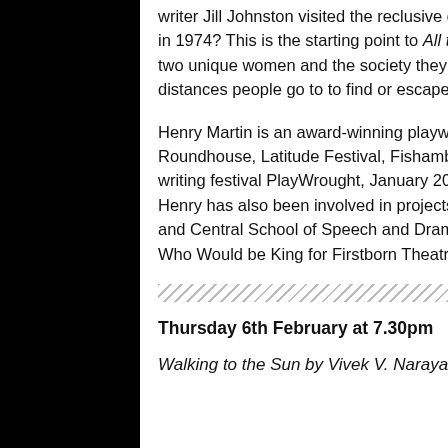writer Jill Johnston visited the reclusive celebrated painter Agnes Martin in the New Mexico desert in 1974? This is the starting point to All the Way to Albuquerque, a new project inspired by these two unique women and the society they changed. It is a blend of fact and fiction that shows the distances people go to to find or escape who they really are.
Henry Martin is an award-winning playwright. His work has been shown at Theatre 503, The Roundhouse, Latitude Festival, Fishamble Theatre and at the Arcola as part of their first new writing festival PlayWrought, January 2013. Henry has also been involved in projects at the National Theatre, HighTide, Hampstead Theatre, and Central School of Speech and Drama. Forthcoming projects include an adaptation of The Man Who Would be King for Firstborn Theatre.
Thursday 6th February at 7.30pm
Walking to the Sun by Vivek V. Narayan